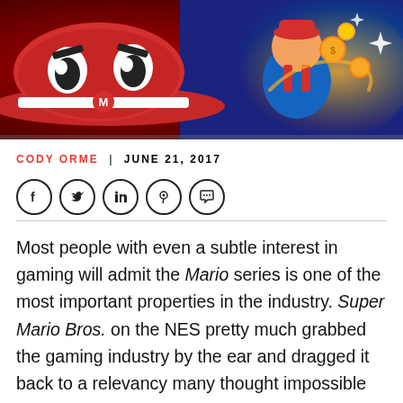[Figure (photo): Hero image showing Super Mario Odyssey game art with a red hat with eyes and Mario in blue outfit with gold coins swirling]
CODY ORME | JUNE 21, 2017
[Figure (other): Social media share icons: Facebook, Twitter, LinkedIn, Pinterest, Comment]
Most people with even a subtle interest in gaming will admit the Mario series is one of the most important properties in the industry. Super Mario Bros. on the NES pretty much grabbed the gaming industry by the ear and dragged it back to a relevancy many thought impossible following the crash of 1985. So, whenever Nintendo unveils a new